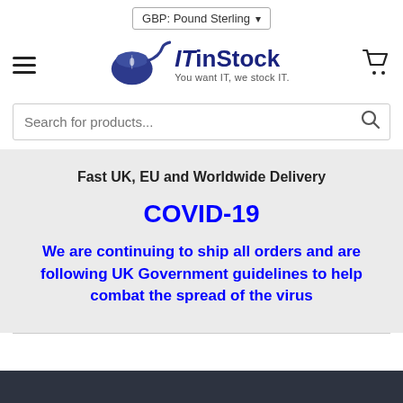GBP: Pound Sterling
[Figure (logo): ITinStock logo with mouse icon and tagline 'You want IT, we stock IT.']
Search for products...
Fast UK, EU and Worldwide Delivery
COVID-19
We are continuing to ship all orders and are following UK Government guidelines to help combat the spread of the virus